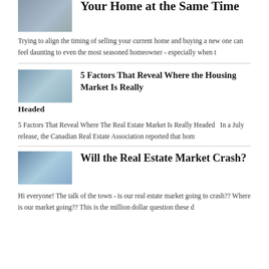Your Home at the Same Time
Trying to align the timing of selling your current home and buying a new one can feel daunting to even the most seasoned homeowner - especially when t
5 Factors That Reveal Where the Housing Market Is Really Headed
5 Factors That Reveal Where The Real Estate Market Is Really Headed   In a July release, the Canadian Real Estate Association reported that hom
Will the Real Estate Market Crash?
Hi everyone! The talk of the town - is our real estate market going to crash?? Where is our market going?? This is the million dollar question these d